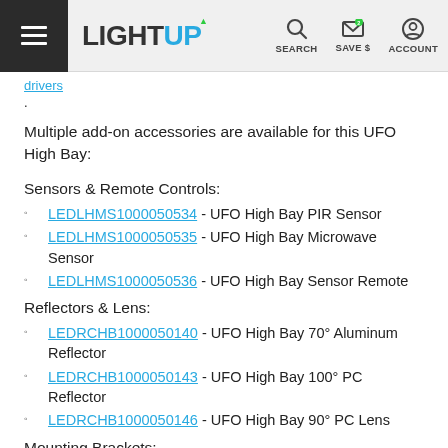LightUP | SEARCH | SAVE $ | ACCOUNT
drivers.
Multiple add-on accessories are available for this UFO High Bay:
Sensors & Remote Controls:
LEDLHMS1000050534 - UFO High Bay PIR Sensor
LEDLHMS1000050535 - UFO High Bay Microwave Sensor
LEDLHMS1000050536 - UFO High Bay Sensor Remote
Reflectors & Lens:
LEDRCHB1000050140 - UFO High Bay 70° Aluminum Reflector
LEDRCHB1000050143 - UFO High Bay 100° PC Reflector
LEDRCHB1000050146 - UFO High Bay 90° PC Lens
Mounting Brackets: